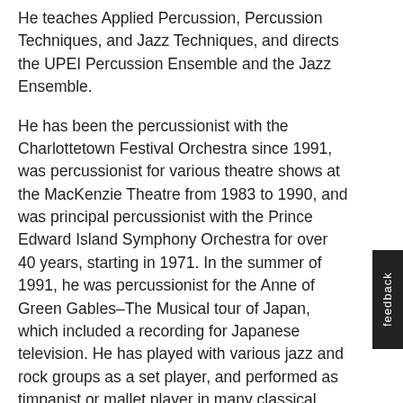He teaches Applied Percussion, Percussion Techniques, and Jazz Techniques, and directs the UPEI Percussion Ensemble and the Jazz Ensemble.
He has been the percussionist with the Charlottetown Festival Orchestra since 1991, was percussionist for various theatre shows at the MacKenzie Theatre from 1983 to 1990, and was principal percussionist with the Prince Edward Island Symphony Orchestra for over 40 years, starting in 1971. In the summer of 1991, he was percussionist for the Anne of Green Gables–The Musical tour of Japan, which included a recording for Japanese television. He has played with various jazz and rock groups as a set player, and performed as timpanist or mallet player in many classical concerts in both solo and ensemble capacities.
Prof. Shephard has performed and recorded as percussionist with the Northumberland Brass at the Indian River Festival for All the Best (CBC Halifax).